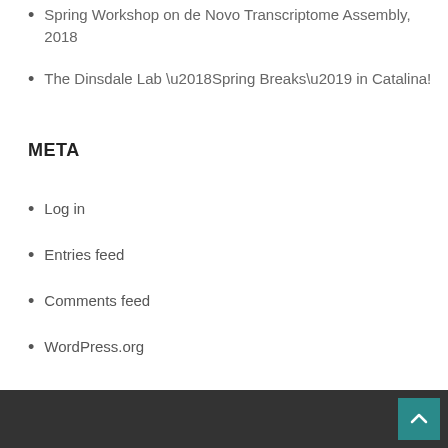Spring Workshop on de Novo Transcriptome Assembly, 2018
The Dinsdale Lab ‘Spring Breaks’ in Catalina!
META
Log in
Entries feed
Comments feed
WordPress.org